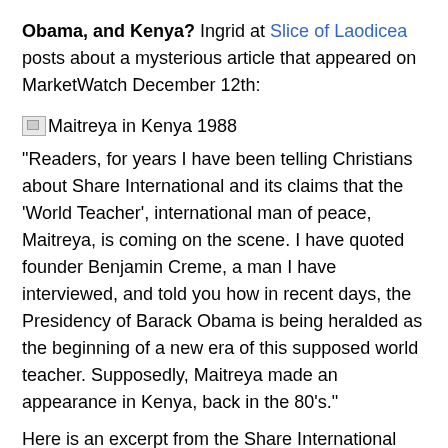Obama, and Kenya? Ingrid at Slice of Laodicea posts about a mysterious article that appeared on MarketWatch December 12th:
Maitreya in Kenya 1988
“Readers, for years I have been telling Christians about Share International and its claims that the ‘World Teacher’, international man of peace, Maitreya, is coming on the scene. I have quoted founder Benjamin Creme, a man I have interviewed, and told you how in recent days, the Presidency of Barack Obama is being heralded as the beginning of a new era of this supposed world teacher. Supposedly, Maitreya made an appearance in Kenya, back in the 80’s.”
Here is an excerpt from the Share International press release: